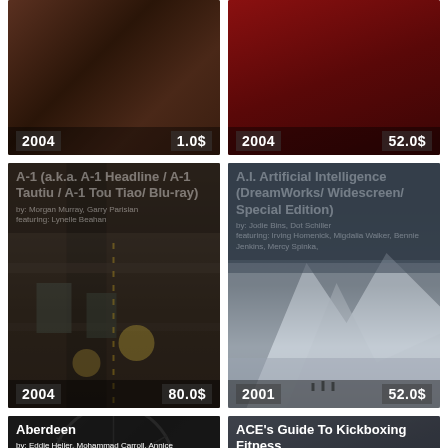[Figure (photo): Dark food or crowd photograph with year 2004 and price 1.0$]
[Figure (photo): Red/dark photograph with year 2004 and price 52.0$]
[Figure (photo): Street traffic scene. Title: A-1 (a.k.a. A-1 Headline / A-1 Tautiu / A-1 Tou Tiao/ Blu-ray). By: Morgan Murray, Garry Parisian, featuring: Lynelle Beahan. Year: 2004, Price: 80.0$]
[Figure (photo): Snowy mountains scene. Title: A.I. Artificial Intelligence (DreamWorks/ Widescreen/ Special Edition). By: Jodie Bins, Dot Schiller, featuring: Irving Homenick, Migdalia Walker, Bennie Jenkins, Mercy Spinka. Year: 2001, Price: 52.0$]
[Figure (photo): Bicycle wheel image. Title: Aberdeen. By: Eddie Heller, Mohammad Carroll, Annice Schroeder.]
[Figure (photo): Grey/neutral image. Title: ACE's Guide To Kickboxing Fitness. By: partial text visible.]